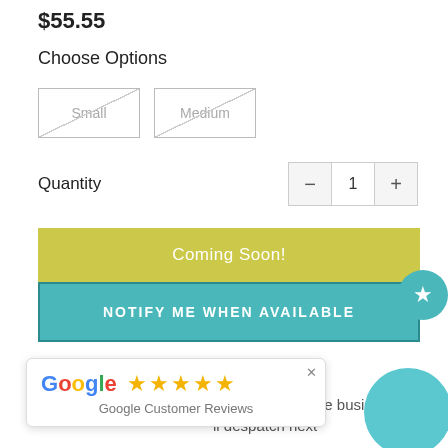$55.55
Choose Options
Small | Medium (options with strikethrough/unavailable)
Quantity
Coming Soon!
NOTIFY ME WHEN AVAILABLE
Same Day Despatch
Order before 10am and we'll despatch same business [day. After 10am we'll despatch next] [business day.]
[Figure (other): Google Customer Reviews popup with 5 gold stars and close button]
[Figure (other): Teal circular badge/button at bottom right]